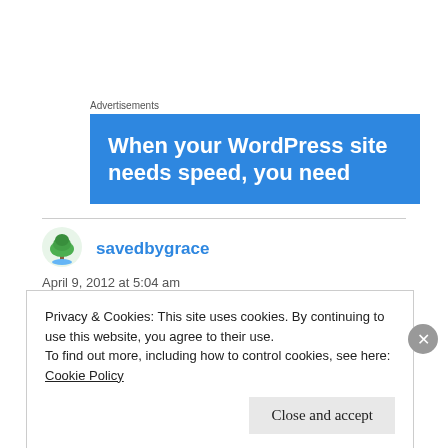Advertisements
[Figure (illustration): Blue advertisement banner reading: When your WordPress site needs speed, you need]
savedbygrace
April 9, 2012 at 5:04 am
Privacy & Cookies: This site uses cookies. By continuing to use this website, you agree to their use.
To find out more, including how to control cookies, see here:
Cookie Policy
Close and accept